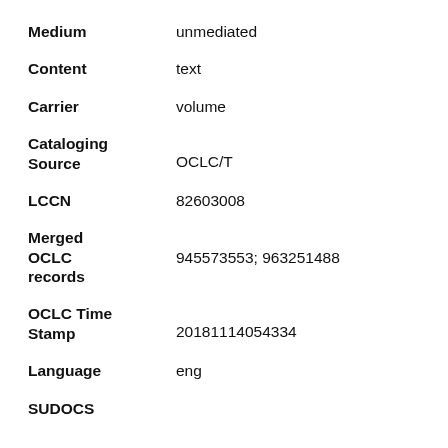Medium: unmediated
Content: text
Carrier: volume
Cataloging Source: OCLC/T
LCCN: 82603008
Merged OCLC records: 945573553; 963251488
OCLC Time Stamp: 20181114054334
Language: eng
SUDOCS